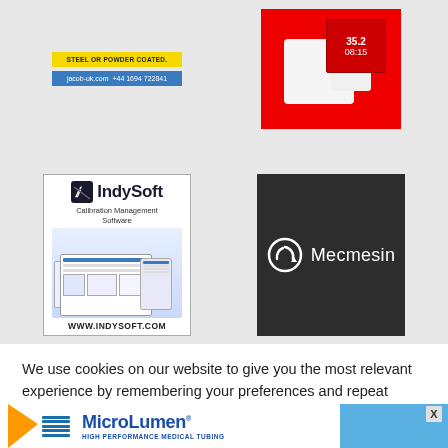[Figure (advertisement): Jacob UK advertisement with yellow badge 'STEEL OR POWDER COATED.' and blue badge 'jacob-uk.com +44 1694 722841']
[Figure (advertisement): Red industrial device advertisement showing a wall-mounted unit with numeric display showing 35.2 and 08:15]
[Figure (advertisement): IndySoft Calibration Management Software advertisement with logo, device screens and URL www.indysoft.com]
[Figure (advertisement): Mecmesin logo advertisement on dark background with stylized ring/arrow icon and white text 'Mecmesin']
We use cookies on our website to give you the most relevant experience by remembering your preferences and repeat visits. By clicking “Accept”, you consent to the use of ALL the cookies.
[Figure (advertisement): MicroLumen High Performance Medical Tubing banner advertisement with orange triangle logo and blue background, with X close button]